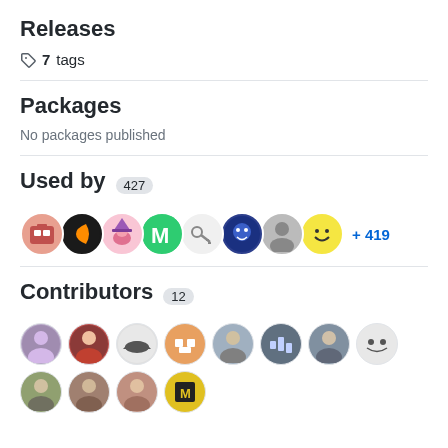Releases
7 tags
Packages
No packages published
Used by 427
[Figure (illustration): Row of 8 circular user avatar icons followed by '+419' in blue text]
Contributors 12
[Figure (illustration): Two rows of circular contributor avatar icons, 10 in first row and 2 in second row]